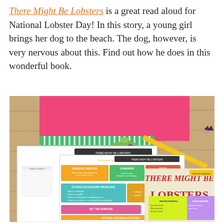There Might Be Lobsters is a great read aloud for National Lobster Day! In this story, a young girl brings her dog to the beach. The dog, however, is very nervous about this. Find out how he does in this wonderful book.
[Figure (photo): Flat lay photo on a wooden desk showing pink and green notebooks, a small succulent plant, a pencil, a purple pen, and printable worksheets for the book 'There Might Be Lobsters' including read aloud talking points, essential questions, vocabulary, background knowledge sections, and the book cover visible on the right side.]